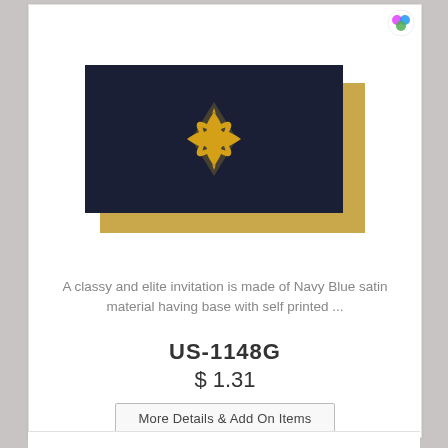[Figure (photo): Navy blue satin invitation card with gold damask emblem in center, overlapping a gold base/envelope, shown at an angle.]
A classy and elite invitation is made of Navy Blue satin material having base with self printed ...
US-1148G
$ 1.31
More Details & Add On Items